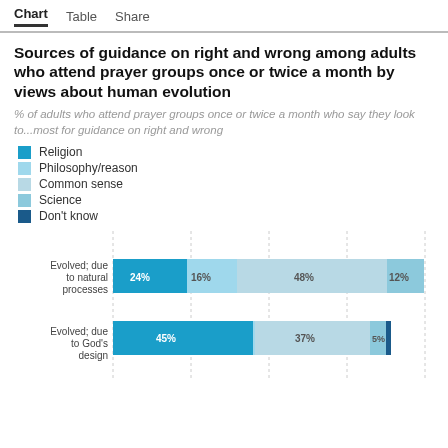Chart   Table   Share
Sources of guidance on right and wrong among adults who attend prayer groups once or twice a month by views about human evolution
% of adults who attend prayer groups once or twice a month who say they look to...most for guidance on right and wrong
Religion
Philosophy/reason
Common sense
Science
Don't know
[Figure (stacked-bar-chart): Sources of guidance on right and wrong among adults who attend prayer groups once or twice a month by views about human evolution]